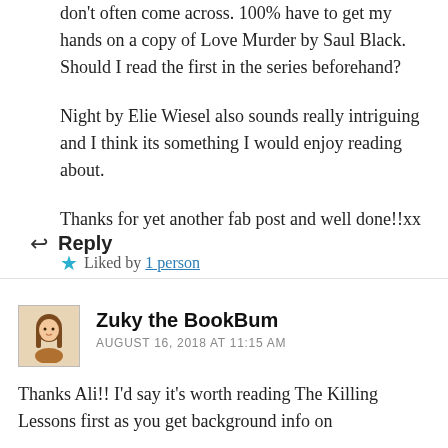don't often come across. 100% have to get my hands on a copy of Love Murder by Saul Black. Should I read the first in the series beforehand?
Night by Elie Wiesel also sounds really intriguing and I think its something I would enjoy reading about.
Thanks for yet another fab post and well done!!xx
Liked by 1 person
Reply
Zuky the BookBum
AUGUST 16, 2018 AT 11:15 AM
Thanks Ali!! I'd say it's worth reading The Killing Lessons first as you get background info on